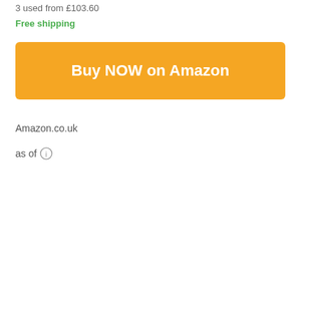3 used from £103.60
Free shipping
[Figure (other): Orange/yellow button with white bold text 'Buy NOW on Amazon']
Amazon.co.uk
as of (i)